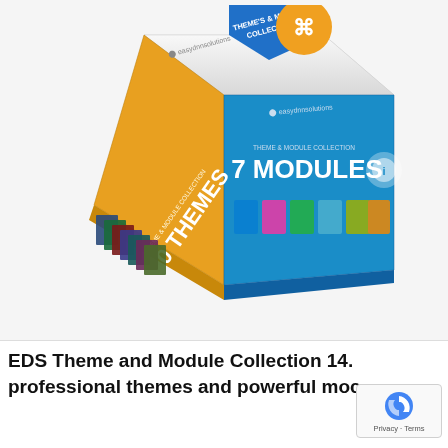[Figure (illustration): A 3D product box for 'EDS Theme & Module Collection' by easydnnsolutions. The box has a white top, an orange/amber left face showing '10 THEMES' with stacked theme preview images, and a blue right face showing '7 MODULES' with module preview images. A blue ribbon banner on top reads 'THEME'S & MODULE COLLECTION' with an orange circle logo above it.]
EDS Theme and Module Collection 14. professional themes and powerful moc